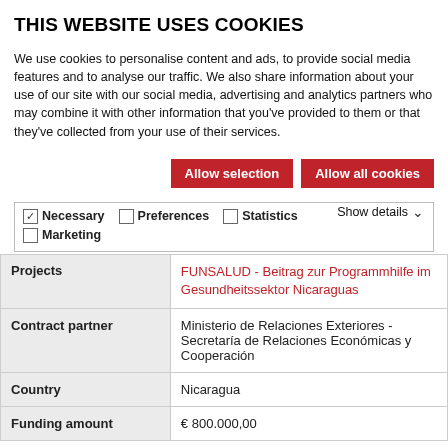THIS WEBSITE USES COOKIES
We use cookies to personalise content and ads, to provide social media features and to analyse our traffic. We also share information about your use of our site with our social media, advertising and analytics partners who may combine it with other information that you've provided to them or that they've collected from your use of their services.
Allow selection
Allow all cookies
Necessary  Preferences  Statistics  Marketing  Show details
|  |  |
| --- | --- |
| Projects | FUNSALUD - Beitrag zur Programmhilfe im Gesundheitssektor Nicaraguas |
| Contract partner | Ministerio de Relaciones Exteriores - Secretaría de Relaciones Económicas y Cooperación |
| Country | Nicaragua |
| Funding amount | € 800.000,00 |